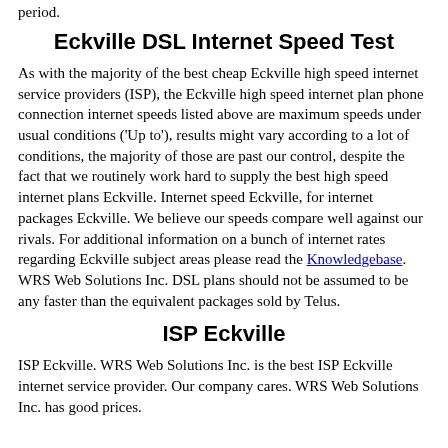period.
Eckville DSL Internet Speed Test
As with the majority of the best cheap Eckville high speed internet service providers (ISP), the Eckville high speed internet plan phone connection internet speeds listed above are maximum speeds under usual conditions ('Up to'), results might vary according to a lot of conditions, the majority of those are past our control, despite the fact that we routinely work hard to supply the best high speed internet plans Eckville. Internet speed Eckville, for internet packages Eckville. We believe our speeds compare well against our rivals. For additional information on a bunch of internet rates regarding Eckville subject areas please read the Knowledgebase. WRS Web Solutions Inc. DSL plans should not be assumed to be any faster than the equivalent packages sold by Telus.
ISP Eckville
ISP Eckville. WRS Web Solutions Inc. is the best ISP Eckville internet service provider. Our company cares. WRS Web Solutions Inc. has good prices.